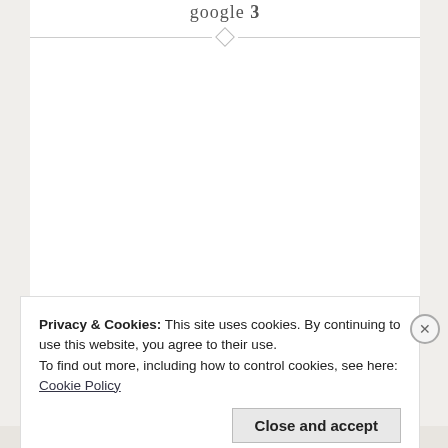google 3
Privacy & Cookies: This site uses cookies. By continuing to use this website, you agree to their use.
To find out more, including how to control cookies, see here:
Cookie Policy
Close and accept